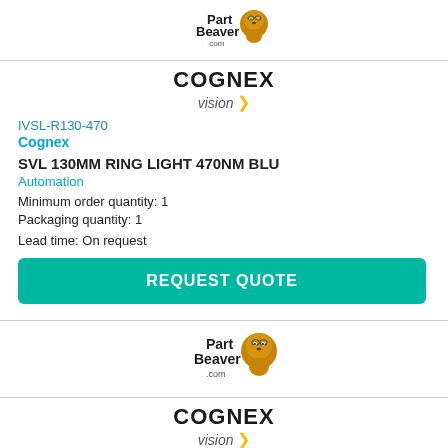[Figure (logo): PartBeaver.com logo with beaver mascot, top of page]
[Figure (logo): COGNEX vision logo with yellow arrow]
IVSL-R130-470
Cognex
SVL 130MM RING LIGHT 470NM BLU
Automation
Minimum order quantity: 1
Packaging quantity: 1
Lead time: On request
REQUEST QUOTE
[Figure (logo): PartBeaver.com logo with beaver mascot, bottom section]
[Figure (logo): COGNEX vision logo with yellow arrow, bottom section]
IVSL-R130-625
Cognex